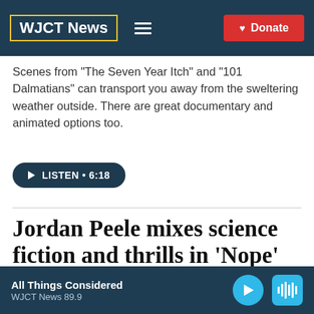WJCT News
Scenes from "The Seven Year Itch" and "101 Dalmatians" can transport you away from the sweltering weather outside. There are great documentary and animated options too.
LISTEN • 6:18
Jordan Peele mixes science fiction and thrills in 'Nope'
All Things Considered
WJCT News 89.9